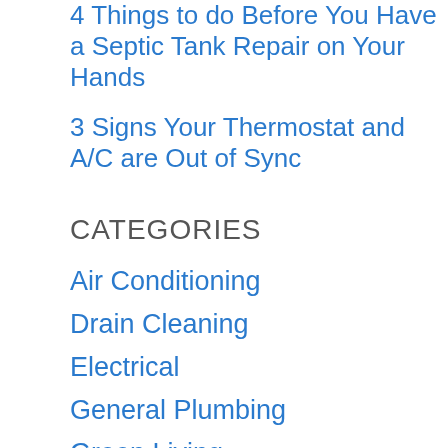4 Things to do Before You Have a Septic Tank Repair on Your Hands
3 Signs Your Thermostat and A/C are Out of Sync
CATEGORIES
Air Conditioning
Drain Cleaning
Electrical
General Plumbing
Green Living
Heating
Heating & Air Conditioning